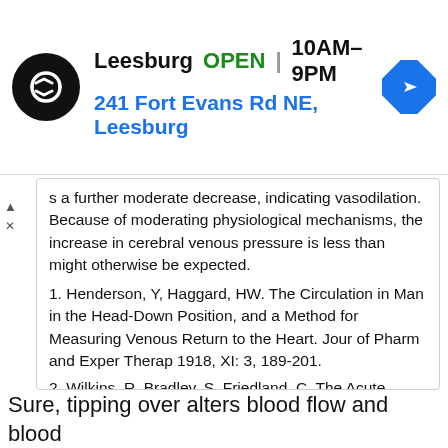[Figure (logo): Leesburg store ad banner with logo, OPEN status, hours 10AM-9PM, address 241 Fort Evans Rd NE Leesburg, and navigation icon]
s a further moderate decrease, indicating vasodilation. Because of moderating physiological mechanisms, the increase in cerebral venous pressure is less than might otherwise be expected.
1. Henderson, Y, Haggard, HW. The Circulation in Man in the Head-Down Position, and a Method for Measuring Venous Return to the Heart. Jour of Pharm and Exper Therap 1918, XI: 3, 189-201.
2. Wilkins, R, Bradley, S, Friedland, C. The Acute Circulatory Effects of the Head-Down Position in Normal Man, with a Note on Some Measures Designed to Relive Cranial Congestion in this Position. Journal Clin. Invest. 29: 940-949, 1950.
Sure, tipping over alters blood flow and blood